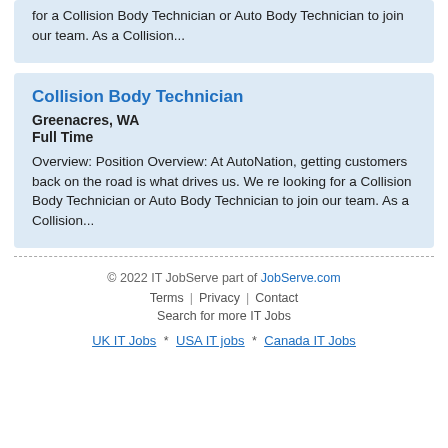for a Collision Body Technician or Auto Body Technician to join our team. As a Collision...
Collision Body Technician
Greenacres, WA
Full Time
Overview: Position Overview: At AutoNation, getting customers back on the road is what drives us. We re looking for a Collision Body Technician or Auto Body Technician to join our team. As a Collision...
© 2022 IT JobServe part of JobServe.com
Terms | Privacy | Contact
Search for more IT Jobs
UK IT Jobs * USA IT jobs * Canada IT Jobs